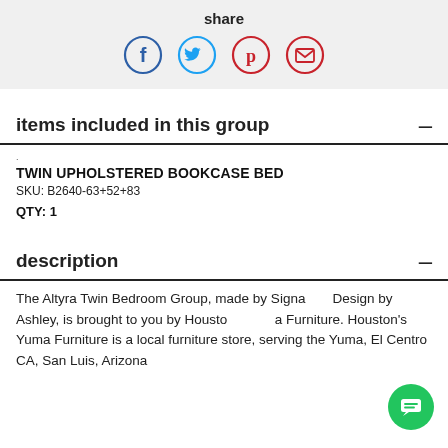share
[Figure (infographic): Social share icons: Facebook (blue circle), Twitter (light blue circle), Pinterest (red circle), Email (red circle with envelope)]
items included in this group
TWIN UPHOLSTERED BOOKCASE BED
SKU: B2640-63+52+83
QTY: 1
description
The Altyra Twin Bedroom Group, made by Signature Design by Ashley, is brought to you by Houston's Yuma Furniture. Houston's Yuma Furniture is a local furniture store, serving the Yuma, El Centro CA, San Luis, Arizona